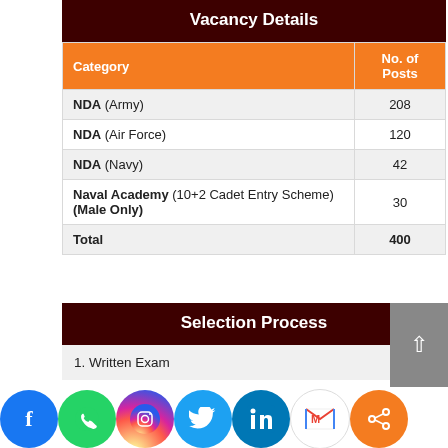Vacancy Details
| Category | No. of Posts |
| --- | --- |
| NDA (Army) | 208 |
| NDA (Air Force) | 120 |
| NDA (Navy) | 42 |
| Naval Academy (10+2 Cadet Entry Scheme) (Male Only) | 30 |
| Total | 400 |
Selection Process
1. Written Exam